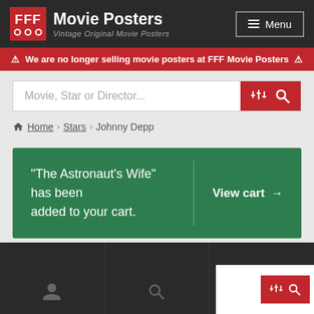FFF Movie Posters – Vintage Original Movie Posters
⚠ We are no longer selling movie posters at FFF Movie Posters ⚠
Movie, Star or Director...
Home > Stars > Johnny Depp
“The Astronaut’s Wife” has been added to your cart. View cart →